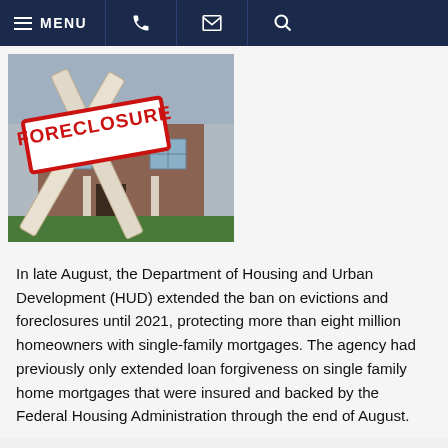MENU [phone] [email] [search]
[Figure (photo): A large brick house with a FORECLOSURE sign in red letters on white boards crossed in front of it, typical foreclosure listing sign on a residential property.]
In late August, the Department of Housing and Urban Development (HUD) extended the ban on evictions and foreclosures until 2021, protecting more than eight million homeowners with single-family mortgages. The agency had previously only extended loan forgiveness on single family home mortgages that were insured and backed by the Federal Housing Administration through the end of August.